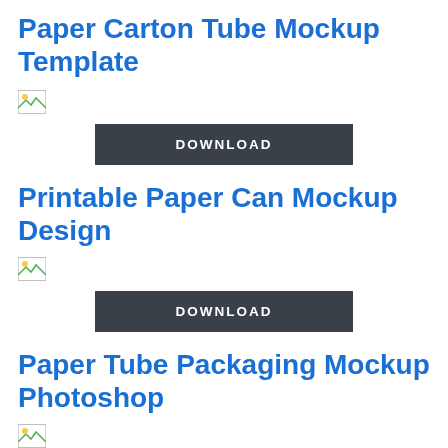Paper Carton Tube Mockup Template
[Figure (other): Small broken/placeholder image thumbnail]
DOWNLOAD
Printable Paper Can Mockup Design
[Figure (other): Small broken/placeholder image thumbnail]
DOWNLOAD
Paper Tube Packaging Mockup Photoshop
[Figure (other): Small broken/placeholder image thumbnail]